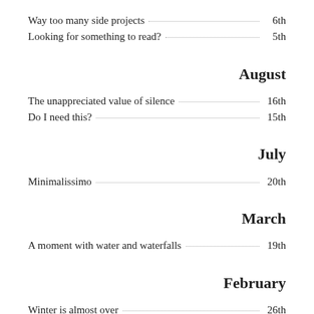Way too many side projects  6th
Looking for something to read?  5th
August
The unappreciated value of silence  16th
Do I need this?  15th
July
Minimalissimo  20th
March
A moment with water and waterfalls  19th
February
Winter is almost over  26th
Style and lifestyle  19th